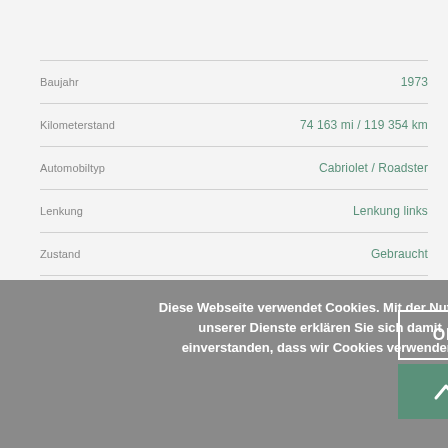| Attribut | Wert |
| --- | --- |
| Baujahr | 1973 |
| Kilometerstand | 74 163 mi / 119 354 km |
| Automobiltyp | Cabriolet / Roadster |
| Lenkung | Lenkung links |
| Zustand | Gebraucht |
Diese Webseite verwendet Cookies. Mit der Nutzung unserer Dienste erklären Sie sich damit einverstanden, dass wir Cookies verwenden.
OK